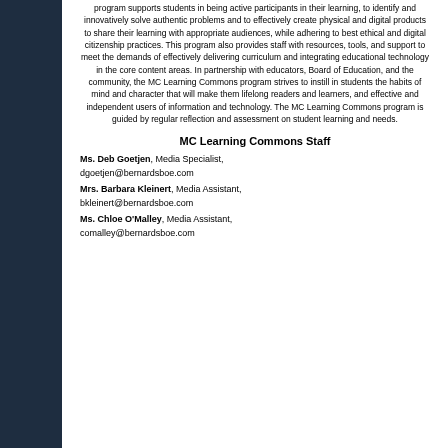program supports students in being active participants in their learning, to identify and innovatively solve authentic problems and to effectively create physical and digital products to share their learning with appropriate audiences, while adhering to best ethical and digital citizenship practices. This program also provides staff with resources, tools, and support to meet the demands of effectively delivering curriculum and integrating educational technology in the core content areas. In partnership with educators, Board of Education, and the community, the MC Learning Commons program strives to instill in students the habits of mind and character that will make them lifelong readers and learners, and effective and independent users of information and technology. The MC Learning Commons program is guided by regular reflection and assessment on student learning and needs.
MC Learning Commons Staff
Ms. Deb Goetjen, Media Specialist, dgoetjen@bernardsboe.com
Mrs. Barbara Kleinert, Media Assistant, bkleinert@bernardsboe.com
Ms. Chloe O'Malley, Media Assistant, comalley@bernardsboe.com